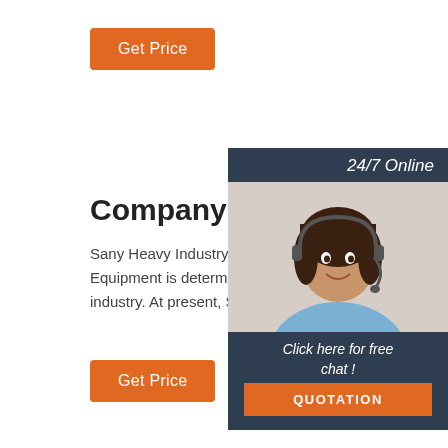[Figure (other): Orange 'Get Price' button at top left]
[Figure (other): 24/7 Online chat widget with operator photo, 'Click here for free chat!' text, and QUOTATION button in top-right area]
Company Industry - SANY Gr
Sany Heavy Industry is China's largest and the fifth largest engineering machinery manufactu Heavy Equipment is determined to become th and pioneer of technology in the open pit mini machinery industry. At present, Sany Heavy eq has 4 series and 6 categories of mining machine products.
[Figure (other): Orange 'Get Price' button at bottom left]